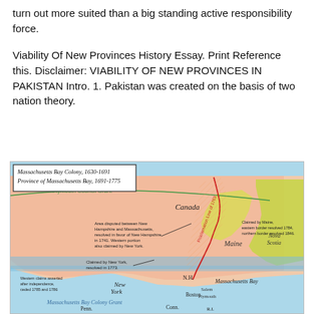turn out more suited than a big standing active responsibility force.
Viability Of New Provinces History Essay. Print Reference this. Disclaimer: VIABILITY OF NEW PROVINCES IN PAKISTAN Intro. 1. Pakistan was created on the basis of two nation theory.
[Figure (map): Historical map of Massachusetts Bay Colony, 1630-1691 and Province of Massachusetts Bay, 1691-1775, showing colonial land claims, disputed areas, Canada, Maine, Nova Scotia, New York, New Hampshire, Connecticut, Pennsylvania, and surrounding regions with annotations about land disputes and claim resolutions.]